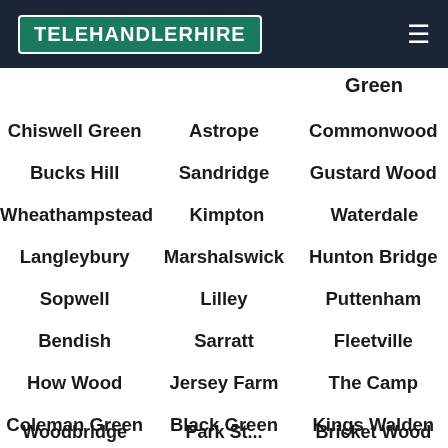TELEHANDLERHIRE
Green
Chiswell Green | Astrope | Commonwood
Bucks Hill | Sandridge | Gustard Wood
Wheathampstead | Kimpton | Waterdale
Langleybury | Marshalswick | Hunton Bridge
Sopwell | Lilley | Puttenham
Bendish | Sarratt | Fleetville
How Wood | Jersey Farm | The Camp
Coleman Green | Black Green | Kings Walden
Wood... | Park St... | Bricket Wood...